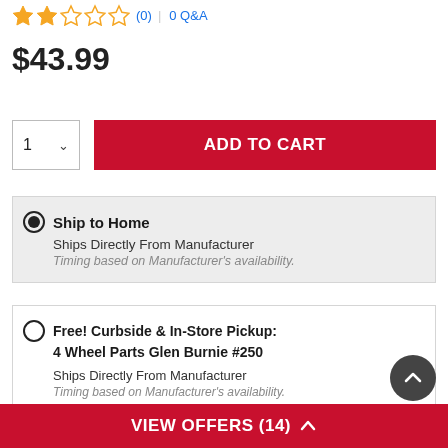[Figure (other): Star rating row: 2 filled gold stars, 3 empty gold stars, (0) review count link, divider, 0 Q&A link]
$43.99
1 ∨  ADD TO CART
Ship to Home
Ships Directly From Manufacturer
Timing based on Manufacturer's availability.
Free! Curbside & In-Store Pickup:
4 Wheel Parts Glen Burnie #250
Ships Directly From Manufacturer
Timing based on Manufacturer's availability.
View Other Stores
VIEW OFFERS (14) ∧